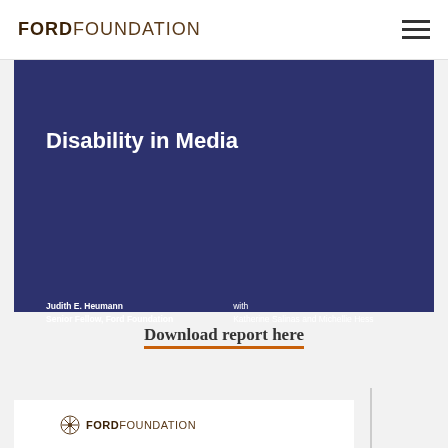FORD FOUNDATION
[Figure (illustration): Dark navy blue report cover for a Ford Foundation publication about Disability in Media. The cover shows title text 'Disability in Media' in bold white font, with author credit 'Judith E. Heumann, Senior Fellow, Ford Foundation' and 'with Katherine Salinas and Michellie Hess' at the bottom.]
Download report here
FORD FOUNDATION